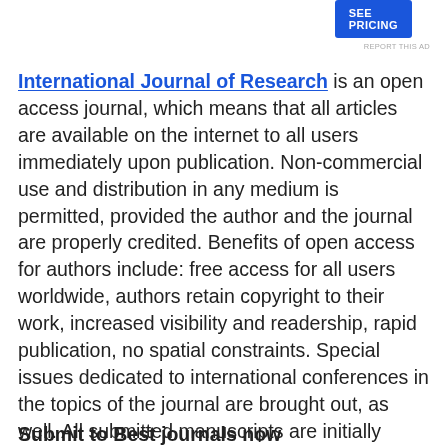[Figure (other): Blue 'SEE PRICING' advertisement button in top right corner]
REPORT THIS AD
International Journal of Research is an open access journal, which means that all articles are available on the internet to all users immediately upon publication. Non-commercial use and distribution in any medium is permitted, provided the author and the journal are properly credited. Benefits of open access for authors include: free access for all users worldwide, authors retain copyright to their work, increased visibility and readership, rapid publication, no spatial constraints. Special issues dedicated to international conferences in the topics of the journal are brought out, as well. All submitted manuscripts are initially evaluated by the Editor and, if are found suitable, are sent for further consideration, to peer reviewers for an independent and anonymous expert review process.
Submit to Best journals now